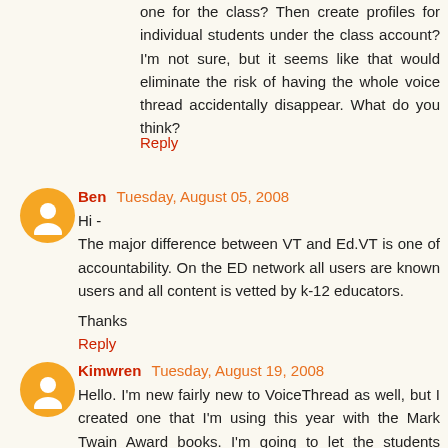one for the class? Then create profiles for individual students under the class account? I'm not sure, but it seems like that would eliminate the risk of having the whole voice thread accidentally disappear. What do you think?
Reply
Ben  Tuesday, August 05, 2008
Hi -
The major difference between VT and Ed.VT is one of accountability. On the ED network all users are known users and all content is vetted by k-12 educators.

Thanks
Reply
Kimwren  Tuesday, August 19, 2008
Hello. I'm new fairly new to VoiceThread as well, but I created one that I'm using this year with the Mark Twain Award books. I'm going to let the students comment after...